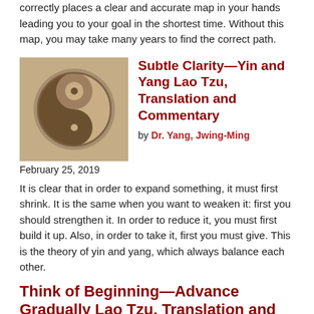correctly places a clear and accurate map in your hands leading you to your goal in the shortest time. Without this map, you may take many years to find the correct path.
[Figure (photo): Bronze or stone yin-yang symbol carving on sandy/rocky surface]
Subtle Clarity—Yin and Yang Lao Tzu, Translation and Commentary
by Dr. Yang, Jwing-Ming
February 25, 2019
It is clear that in order to expand something, it must first shrink. It is the same when you want to weaken it: first you should strengthen it. In order to reduce it, you must first build it up. Also, in order to take it, first you must give. This is the theory of yin and yang, which always balance each other.
Think of Beginning—Advance Gradually Lao Tzu, Translation and Commentary
by Dr. Yang, Jwing-Ming
January 6, 2019
The Nature has always been gradually. Earth prepared...